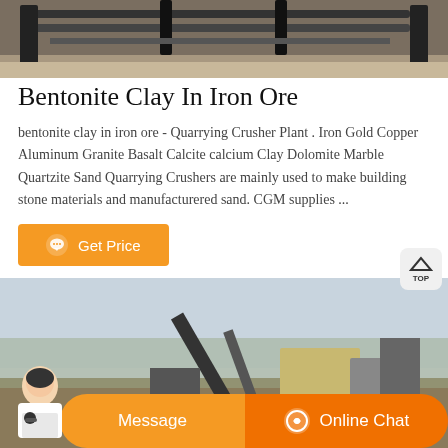[Figure (photo): Top portion of a quarrying/mining machinery on tracks, outdoor industrial setting]
Bentonite Clay In Iron Ore
bentonite clay in iron ore - Quarrying Crusher Plant . Iron Gold Copper Aluminum Granite Basalt Calcite calcium Clay Dolomite Marble Quartzite Sand Quarrying Crushers are mainly used to make building stone materials and manufacturered sand. CGM supplies ...
[Figure (photo): Quarrying crusher plant machinery in an outdoor field with bare trees in the background]
Get Price
Message
Online Chat